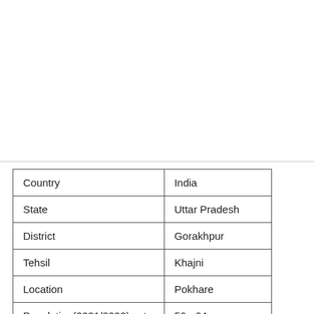| Country | India |
| State | Uttar Pradesh |
| District | Gorakhpur |
| Tehsil | Khajni |
| Location | Pokhare |
| Population(2021/2022) est. | 56 - 64 |